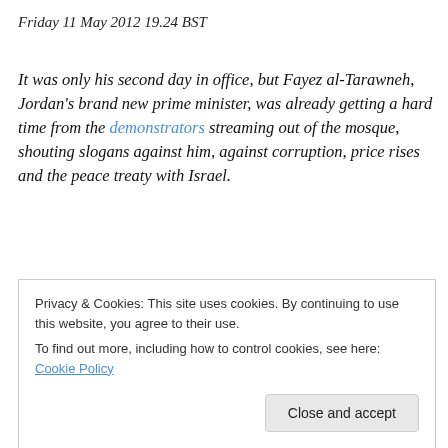Friday 11 May 2012 19.24 BST
It was only his second day in office, but Fayez al-Tarawneh, Jordan's brand new prime minister, was already getting a hard time from the demonstrators streaming out of the mosque, shouting slogans against him, against corruption, price rises and the peace treaty with Israel.
Tarawneh – and the watching police – need not have worried: only a few hundred people turned out earlier this month to attack the government – the country's fourth
Privacy & Cookies: This site uses cookies. By continuing to use this website, you agree to their use. To find out more, including how to control cookies, see here: Cookie Policy